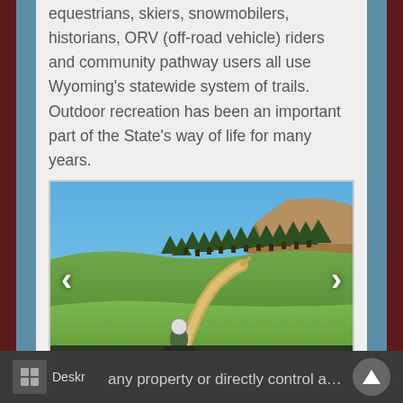equestrians, skiers, snowmobilers, historians, ORV (off-road vehicle) riders and community pathway users all use Wyoming's statewide system of trails. Outdoor recreation has been an important part of the State's way of life for many years.
[Figure (photo): ATV rider on a dirt trail through a green meadow with pine trees and rocky butte in the background under a blue sky. Slideshow with left and right navigation arrows. Overlay text: 'Edit this content to show it on your']
any property or directly control any trail. The Program partners with other land